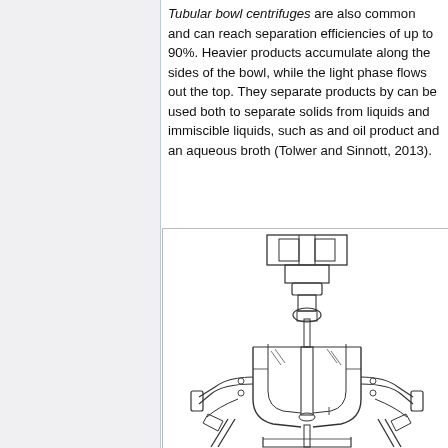Tubular bowl centrifuges are also common and can reach separation efficiencies of up to 90%. Heavier products accumulate along the sides of the bowl, while the light phase flows out the top. They separate products by can be used both to separate solids from liquids and immiscible liquids, such as and oil product and an aqueous broth (Tolwer and Sinnott, 2013).
[Figure (engineering-diagram): Cross-sectional technical drawing of a tubular bowl centrifuge showing the internal mechanical components including the rotor, bowl, drive shaft, bearings, and outlet ports. The diagram is a detailed engineering schematic with line art.]